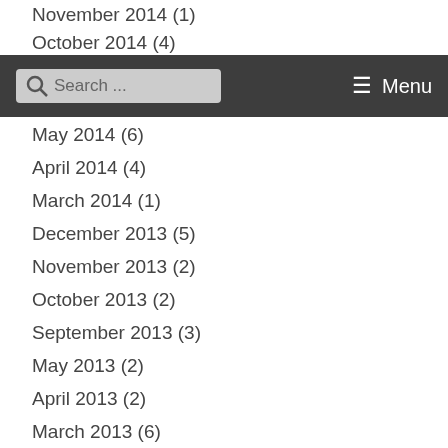November 2014 (1)
October 2014 (4)
September 2014 (1)
May 2014 (6)
April 2014 (4)
March 2014 (1)
December 2013 (5)
November 2013 (2)
October 2013 (2)
September 2013 (3)
May 2013 (2)
April 2013 (2)
March 2013 (6)
January 2013 (7)
December 2012 (4)
November 2012 (2)
October 2012 (6)
September 2012 (?)